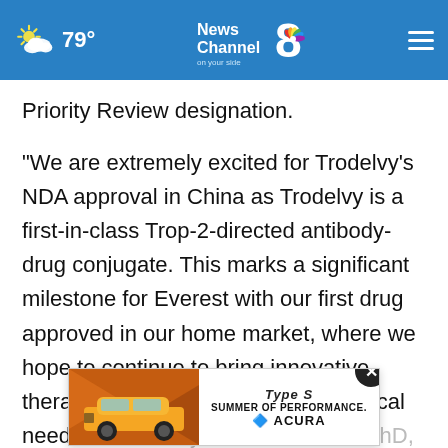News Channel 8 on your side | 79°
Priority Review designation.
"We are extremely excited for Trodelvy's NDA approval in China as Trodelvy is a first-in-class Trop-2-directed antibody-drug conjugate. This marks a significant milestone for Everest with our first drug approved in our home market, where we hope to continue to bring innovative therapies to people with urgent medical needs," said Kerry Blanchard, MD, PhD, Chief Executive Officer...tend
[Figure (screenshot): Acura advertisement banner with orange/red car image and text: Type S - SUMMER OF PERFORMANCE. ACURA]